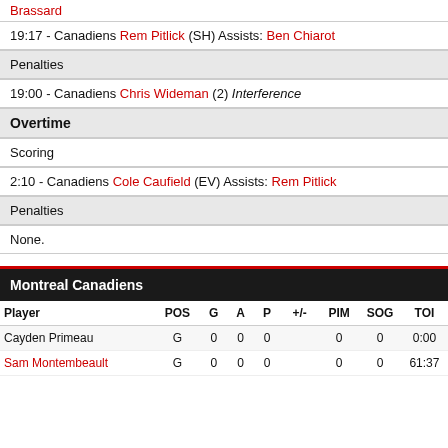Brassard
19:17 - Canadiens Rem Pitlick (SH) Assists: Ben Chiarot
Penalties
19:00 - Canadiens Chris Wideman (2) Interference
Overtime
Scoring
2:10 - Canadiens Cole Caufield (EV) Assists: Rem Pitlick
Penalties
None.
Montreal Canadiens
| Player | POS | G | A | P | +/- | PIM | SOG | TOI |
| --- | --- | --- | --- | --- | --- | --- | --- | --- |
| Cayden Primeau | G | 0 | 0 | 0 |  | 0 | 0 | 0:00 |
| Sam Montembeault | G | 0 | 0 | 0 |  | 0 | 0 | 61:37 |